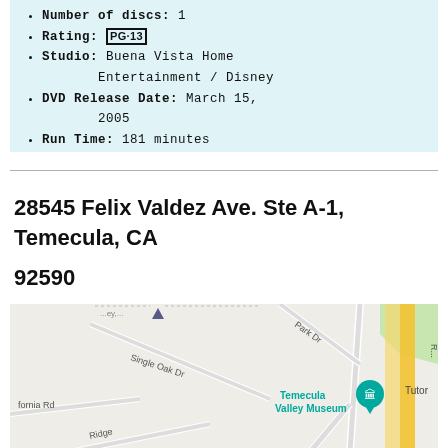Number of discs: 1
Rating: PG-13
Studio: Buena Vista Home Entertainment / Disney
DVD Release Date: March 15, 2005
Run Time: 181 minutes
28545 Felix Valdez Ave. Ste A-1, Temecula, CA 92590
[Figure (map): Google map showing area around 28545 Felix Valdez Ave, Temecula CA, with streets including Single Oak Dr, Diaz, Park Dr, Ridge, and a label for Temecula Valley Museum]